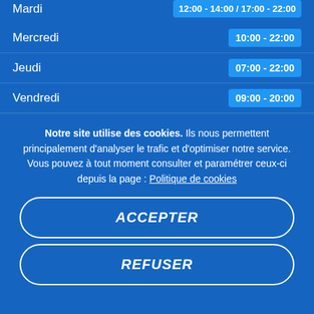| Jour | Horaires |
| --- | --- |
| Mardi | 12:00 - 14:00 / 17:00 - 22:00 |
| Mercredi | 10:00 - 22:00 |
| Jeudi | 07:00 - 22:00 |
| Vendredi | 09:00 - 20:00 |
Notre site utilise des cookies. Ils nous permettent principalement d'analyser le trafic et d'optimiser notre service. Vous pouvez à tout moment consulter et paramétrer ceux-ci depuis la page : Politique de cookies
ACCEPTER
REFUSER